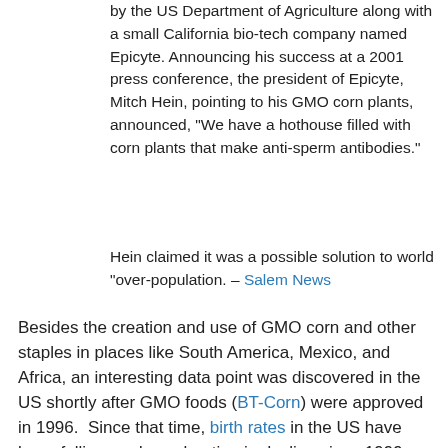by the US Department of Agriculture along with a small California bio-tech company named Epicyte. Announcing his success at a 2001 press conference, the president of Epicyte, Mitch Hein, pointing to his GMO corn plants, announced, “We have a hothouse filled with corn plants that make anti-sperm antibodies.”
Hein claimed it was a possible solution to world “over-population. – Salem News
Besides the creation and use of GMO corn and other staples in places like South America, Mexico, and Africa, an interesting data point was discovered in the US shortly after GMO foods (BT-Corn) were approved in 1996. Since that time, birth rates in the US have been falling, and accelerating in decline since 1999, just three years after the introduction of the GMO to the food supply. Since GMO food is not considered a natural commodity for consumption by the UN’s regulatory body (Codex), and scientists have purposefully introduced spermacidal modifications into corn for the purpose of controlling world populations, then unequivocally, one of the many purposes